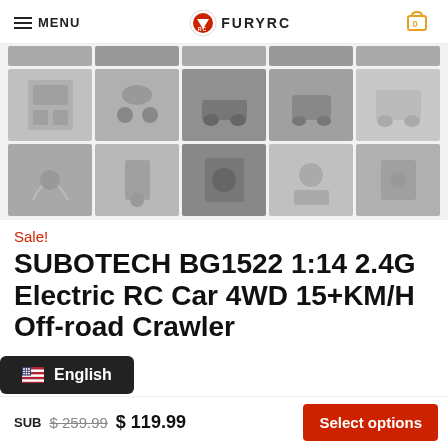MENU | FURYRC | Cart 0
[Figure (photo): Grid of product thumbnail images for RC car product listing, two rows of five images each showing the product, parts, and accessories, plus a partial top row]
Sale!
SUBOTECH BG1522 1:14 2.4G Electric RC Car 4WD 15+KM/H Off-road Crawler
SUB  $ 259.99  $ 119.99  Select options
English